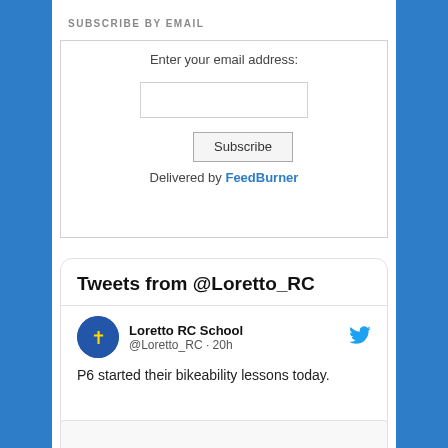SUBSCRIBE BY EMAIL
Enter your email address:
Subscribe
Delivered by FeedBurner
Tweets from @Loretto_RC
Loretto RC School @Loretto_RC · 20h
P6 started their bikeability lessons today.